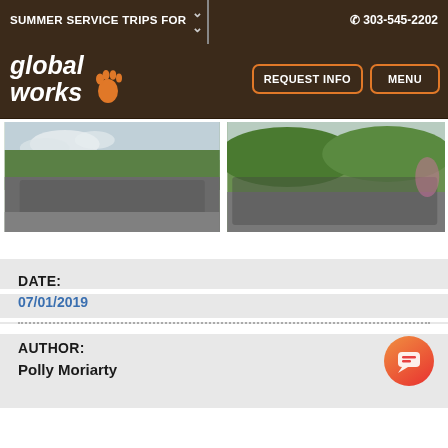SUMMER SERVICE TRIPS FOR  ✆ 303-545-2202
[Figure (logo): Global Works logo with footprint icon, white text on dark brown background]
[Figure (photo): Group photo of participants outdoors in a tropical/forested setting, two photos side by side]
DATE:
07/01/2019
AUTHOR:
Polly Moriarty